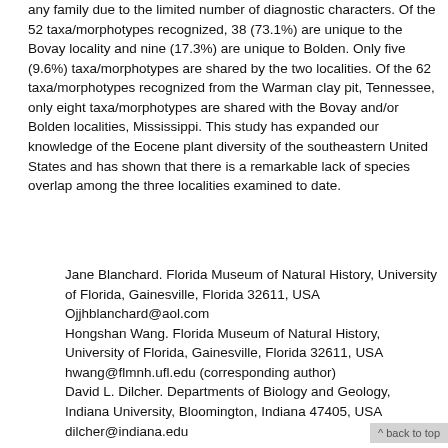any family due to the limited number of diagnostic characters. Of the 52 taxa/morphotypes recognized, 38 (73.1%) are unique to the Bovay locality and nine (17.3%) are unique to Bolden. Only five (9.6%) taxa/morphotypes are shared by the two localities. Of the 62 taxa/morphotypes recognized from the Warman clay pit, Tennessee, only eight taxa/morphotypes are shared with the Bovay and/or Bolden localities, Mississippi. This study has expanded our knowledge of the Eocene plant diversity of the southeastern United States and has shown that there is a remarkable lack of species overlap among the three localities examined to date.
Jane Blanchard. Florida Museum of Natural History, University of Florida, Gainesville, Florida 32611, USA Ojjhblanchard@aol.com Hongshan Wang. Florida Museum of Natural History, University of Florida, Gainesville, Florida 32611, USA hwang@flmnh.ufl.edu (corresponding author) David L. Dilcher. Departments of Biology and Geology, Indiana University, Bloomington, Indiana 47405, USA dilcher@indiana.edu
^ back to top